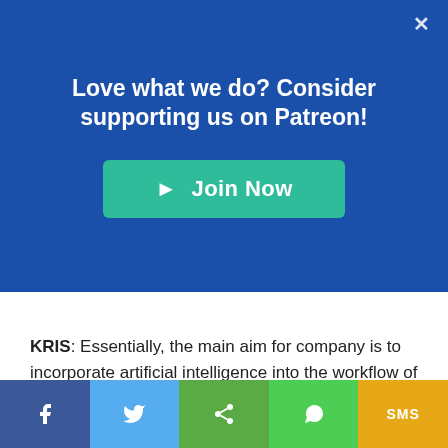Love what we do? Consider supporting us on Patreon!
[Figure (other): Green 'Join Now' button with arrow icon for Patreon support]
KRIS: Essentially, the main aim for company is to incorporate artificial intelligence into the workflow of diagnosis rather than actually replacing the doctor. And Maryam says the reason for this is because AI systems, while they can be fast at doing tasks like image classification, when it comes to something as serious as cancer you don't want any room for error, so you don't want to put too much reliance into an AI system unless you can prove it works all of the time.
Maryam Sadeghi: This is not Airbnb, like yeah you can have disasters but at the end it's just money, it's fine. These are our
[Figure (other): Social share bar with Facebook, Twitter, Share, WhatsApp, and SMS buttons]